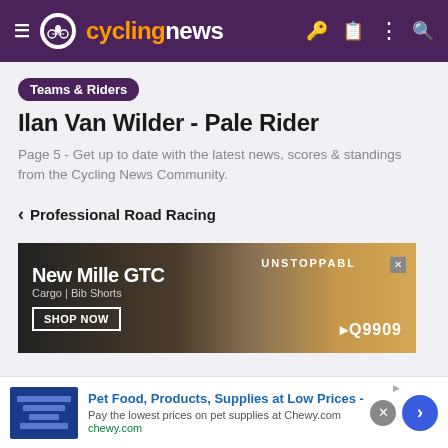cyclingnews
Teams & Riders  Ilan Van Wilder - Pale Rider
Page 5 - Get up to date with the latest news, scores & standings from the Cycling News Community.
< Professional Road Racing
[Figure (screenshot): Advertisement banner for New Mille GTC Cargo Bib Shorts with SHOP NOW button and UNSTOPPABLE text]
Previous  Next
[Figure (screenshot): Bottom advertisement for Chewy.com Pet Food, Products, Supplies at Low Prices]